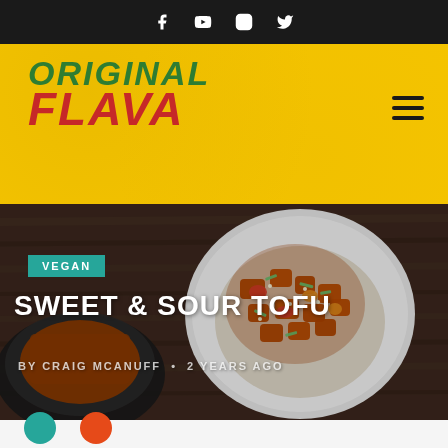Social media icons: Facebook, YouTube, Instagram, Twitter
[Figure (logo): Original Flava logo — ORIGINAL in green italic bold, FLAVA in red italic bold, on yellow background with hamburger menu icon]
[Figure (photo): Food photo: Sweet and sour tofu dish served on rice in a white plate, with a dark pan nearby, on a wooden cutting board background]
VEGAN
SWEET & SOUR TOFU
BY CRAIG MCANUFF • 2 YEARS AGO